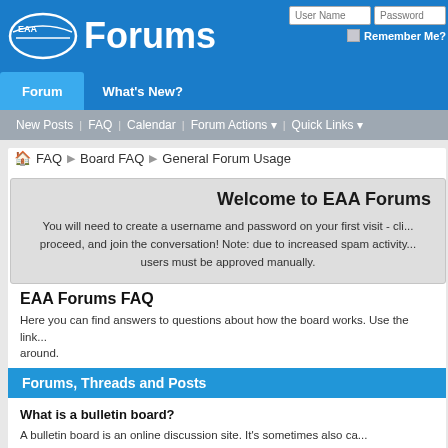EAA Forums
User Name | Password | Remember Me?
Forum | What's New?
New Posts | FAQ | Calendar | Forum Actions | Quick Links
FAQ > Board FAQ > General Forum Usage
Welcome to EAA Forums
You will need to create a username and password on your first visit - cli... proceed, and join the conversation! Note: due to increased spam activity... users must be approved manually.
EAA Forums FAQ
Here you can find answers to questions about how the board works. Use the link... around.
Forums, Threads and Posts
What is a bulletin board?
A bulletin board is an online discussion site. It's sometimes also ca... contain several categories, consisting of forums, threads and indivi...
How is all this structured?
The bulletin board as a whole contains various categories (broad...